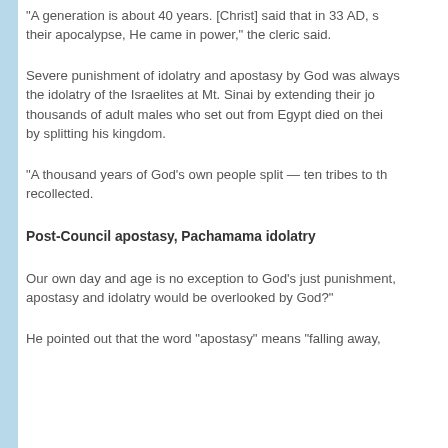“A generation is about 40 years. [Christ] said that in 33 AD, so their apocalypse, He came in power,” the cleric said.
Severe punishment of idolatry and apostasy by God was always the idolatry of the Israelites at Mt. Sinai by extending their journey — thousands of adult males who set out from Egypt died on their way — and by splitting his kingdom.
“A thousand years of God’s own people split — ten tribes to the recollected.
Post-Council apostasy, Pachamama idolatry
Our own day and age is no exception to God’s just punishment, apostasy and idolatry would be overlooked by God?”
He pointed out that the word “apostasy” means “falling away